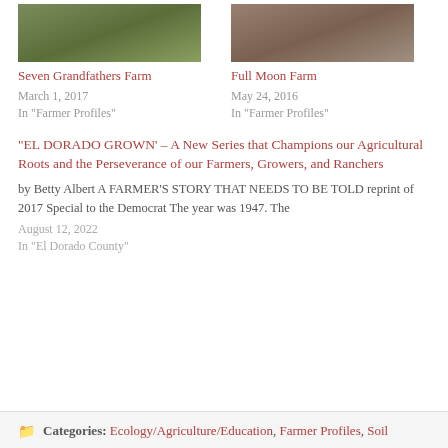[Figure (photo): Thumbnail photo of farm with green trees/plants]
Seven Grandfathers Farm
March 1, 2017
In "Farmer Profiles"
[Figure (photo): Thumbnail photo of farm with brown soil/dirt]
Full Moon Farm
May 24, 2016
In "Farmer Profiles"
“EL DORADO GROWN’ – A New Series that Champions our Agricultural Roots and the Perseverance of our Farmers, Growers, and Ranchers
by Betty Albert A FARMER’S STORY THAT NEEDS TO BE TOLD reprint of 2017 Special to the Democrat The year was 1947.  The
August 12, 2022
In "El Dorado County"
Categories: Ecology/Agriculture/Education, Farmer Profiles, Soil